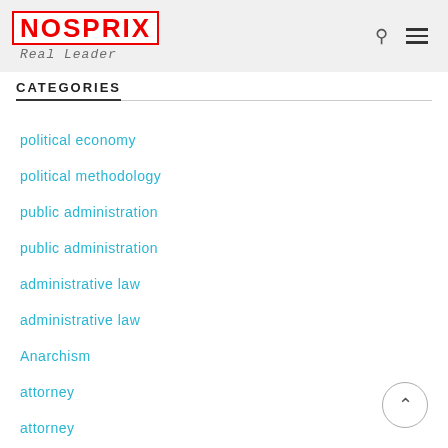NOSPRIX Real Leader
CATEGORIES
political economy
political methodology
public administration
public administration
administrative law
administrative law
Anarchism
attorney
attorney